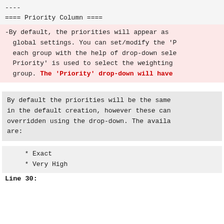----
==== Priority Column ====
-By default, the priorities will appear as global settings. You can set/modify the 'P each group with the help of drop-down sele Priority' is used to select the weighting group. The 'Priority' drop-down will have
By default the priorities will be the same in the default creation, however these can overridden using the drop-down. The availa are:
* Exact
* Very High
Line 30: